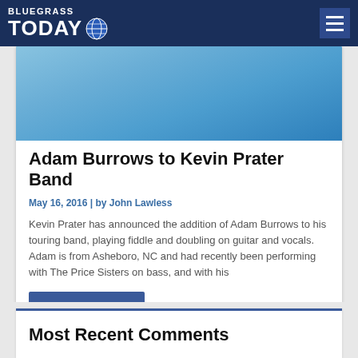Bluegrass Today
[Figure (photo): Musician playing fiddle, wearing light blue polo shirt, partial torso view]
Adam Burrows to Kevin Prater Band
May 16, 2016 | by John Lawless
Kevin Prater has announced the addition of Adam Burrows to his touring band, playing fiddle and doubling on guitar and vocals. Adam is from Asheboro, NC and had recently been performing with The Price Sisters on bass, and with his
Read More →
Most Recent Comments